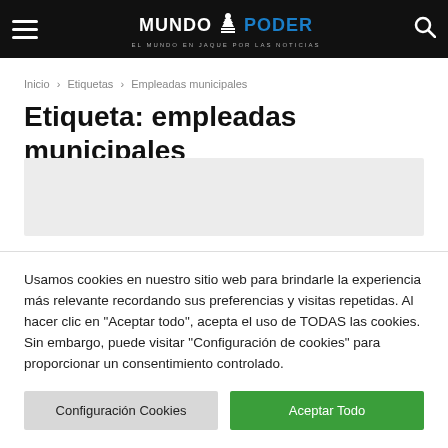MUNDO PODER — EL MUNDO EN JAQUE POR LAS NOTICIAS
Inicio › Etiquetas › Empleadas municipales
Etiqueta: empleadas municipales
[Figure (other): Advertisement placeholder box (light gray rectangle)]
Usamos cookies en nuestro sitio web para brindarle la experiencia más relevante recordando sus preferencias y visitas repetidas. Al hacer clic en "Aceptar todo", acepta el uso de TODAS las cookies. Sin embargo, puede visitar "Configuración de cookies" para proporcionar un consentimiento controlado.
Configuración Cookies | Aceptar Todo